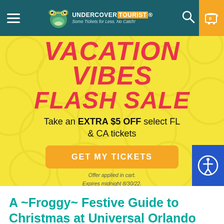Undercover Tourist — Some Tickets for Less. No Catch!
[Figure (infographic): Vacation Vibes Flash Sale banner on yellow background. Text: Take an EXTRA $5 OFF select FL & CA tickets. GET MY TICKETS button. Offer applied in cart. Expires midnight 8/30/22.]
A ~Froggy~ Festive Guide to Christmas at Universal Orlando